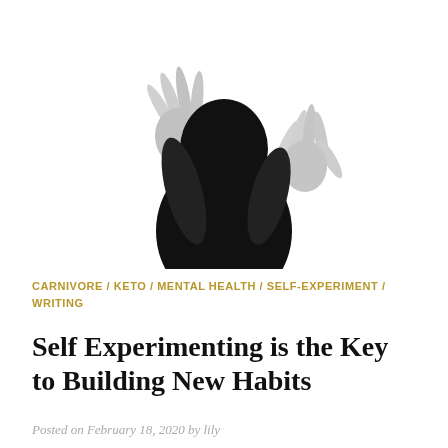[Figure (photo): Black and white silhouette of a person viewed from behind, with both hands raised and splayed against a bright white background. The figure's head and upper torso are a solid dark silhouette.]
CARNIVORE / KETO / MENTAL HEALTH / SELF-EXPERIMENT / WRITING
Self Experimenting is the Key to Building New Habits
Posted on February 18, 2020 by lily